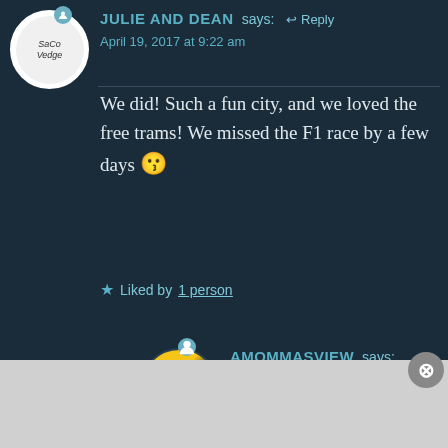JULIE AND DEAN says: ← Reply
April 19, 2017 at 9:22 am
We did! Such a fun city, and we loved the free trams! We missed the F1 race by a few days 😗
★ Liked by 1 person
AMOMMASVIEW says:
April 20, 2017 at 4:27 am
Shame! Next time come back
Advertisements
[Figure (logo): Longreads advertisement banner: red background with Longreads logo circle and tagline 'The best stories on the web — ours, and everyone else's.']